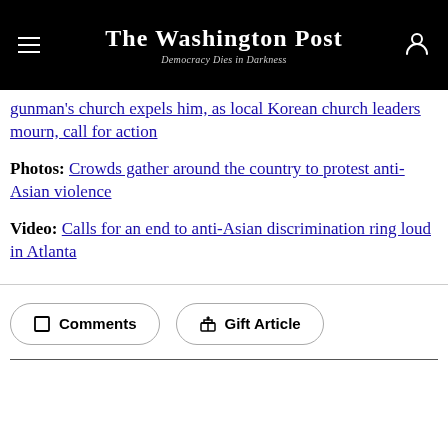The Washington Post — Democracy Dies in Darkness
gunman's church expels him, as local Korean church leaders mourn, call for action
Photos: Crowds gather around the country to protest anti-Asian violence
Video: Calls for an end to anti-Asian discrimination ring loud in Atlanta